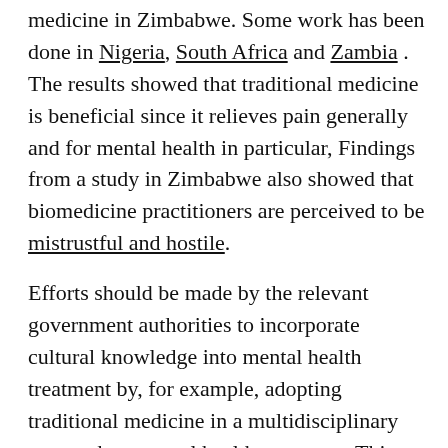medicine in Zimbabwe. Some work has been done in Nigeria, South Africa and Zambia. The results showed that traditional medicine is beneficial since it relieves pain generally and for mental health in particular, Findings from a study in Zimbabwe also showed that biomedicine practitioners are perceived to be mistrustful and hostile.
Efforts should be made by the relevant government authorities to incorporate cultural knowledge into mental health treatment by, for example, adopting traditional medicine in a multidisciplinary approach to mental health treatment. This would strengthen doctor patient relationships, which is likely to increase the use of health services. This collaborative approach has worked in Zambia in the management of HIV/AIDS.